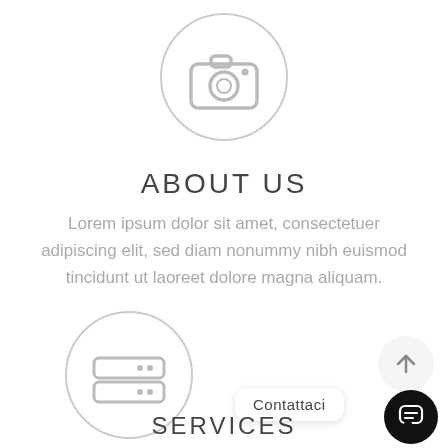[Figure (illustration): Camera icon inside a light gray circle, centered near top of page]
ABOUT US
Lorem ipsum dolor sit amet, consectetuer adipiscing elit, sed diam nonummy nibh euismod tincidunt ut laoreet dolore magna aliquam.
[Figure (illustration): Server/hard drive icon inside a light gray circle, centered lower on page]
Contattaci
[Figure (illustration): Upward arrow inside light gray circle (scroll to top button), top-right corner]
[Figure (illustration): Chat bubble icon inside black circle (chat widget), bottom-right corner]
SERVICES